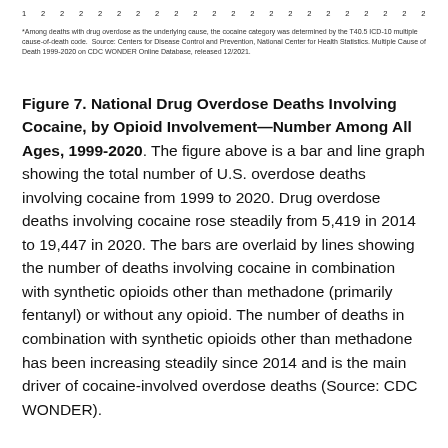*Among deaths with drug overdose as the underlying cause, the cocaine category was determined by the T40.5 ICD-10 multiple cause-of-death code. Source: Centers for Disease Control and Prevention, National Center for Health Statistics. Multiple Cause of Death 1999-2020 on CDC WONDER Online Database, released 12/2021.
Figure 7. National Drug Overdose Deaths Involving Cocaine, by Opioid Involvement—Number Among All Ages, 1999-2020. The figure above is a bar and line graph showing the total number of U.S. overdose deaths involving cocaine from 1999 to 2020. Drug overdose deaths involving cocaine rose steadily from 5,419 in 2014 to 19,447 in 2020. The bars are overlaid by lines showing the number of deaths involving cocaine in combination with synthetic opioids other than methadone (primarily fentanyl) or without any opioid. The number of deaths in combination with synthetic opioids other than methadone has been increasing steadily since 2014 and is the main driver of cocaine-involved overdose deaths (Source: CDC WONDER).